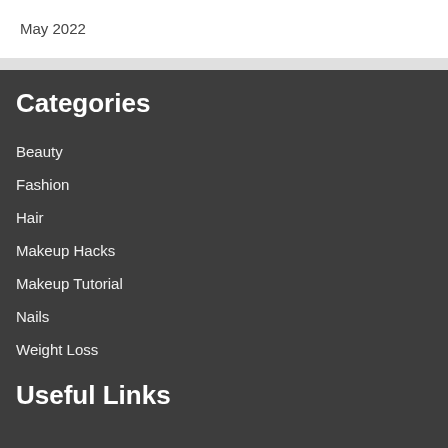May 2022
Categories
Beauty
Fashion
Hair
Makeup Hacks
Makeup Tutorial
Nails
Weight Loss
Useful Links